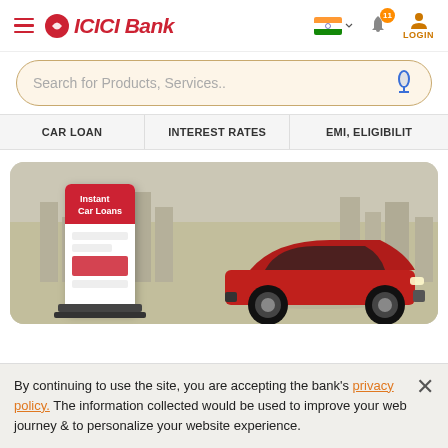ICICI Bank - Navigation header with hamburger menu, logo, flag selector, notification bell (11), and LOGIN button
Search for Products, Services..
CAR LOAN | INTEREST RATES | EMI, ELIGIBILIT
[Figure (illustration): ICICI Bank Instant Car Loans promotional banner showing a smartphone/kiosk display with 'Instant Car Loans' text and a red SUV car on a beige/grey city skyline background]
By continuing to use the site, you are accepting the bank's privacy policy. The information collected would be used to improve your web journey & to personalize your website experience.